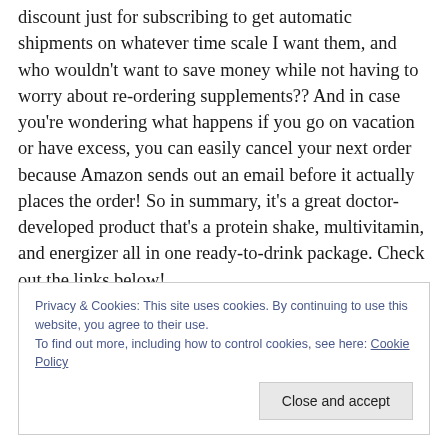discount just for subscribing to get automatic shipments on whatever time scale I want them, and who wouldn't want to save money while not having to worry about re-ordering supplements?? And in case you're wondering what happens if you go on vacation or have excess, you can easily cancel your next order because Amazon sends out an email before it actually places the order! So in summary, it's a great doctor-developed product that's a protein shake, multivitamin, and energizer all in one ready-to-drink package. Check out the links below!
Privacy & Cookies: This site uses cookies. By continuing to use this website, you agree to their use.
To find out more, including how to control cookies, see here: Cookie Policy
Close and accept